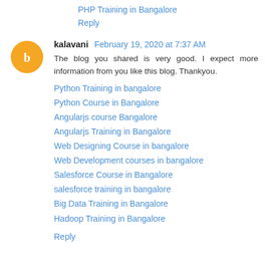PHP Training in Bangalore
Reply
kalavani  February 19, 2020 at 7:37 AM
The blog you shared is very good. I expect more information from you like this blog. Thankyou.
Python Training in bangalore
Python Course in Bangalore
Angularjs course Bangalore
Angularjs Training in Bangalore
Web Designing Course in bangalore
Web Development courses in bangalore
Salesforce Course in Bangalore
salesforce training in bangalore
Big Data Training in Bangalore
Hadoop Training in Bangalore
Reply